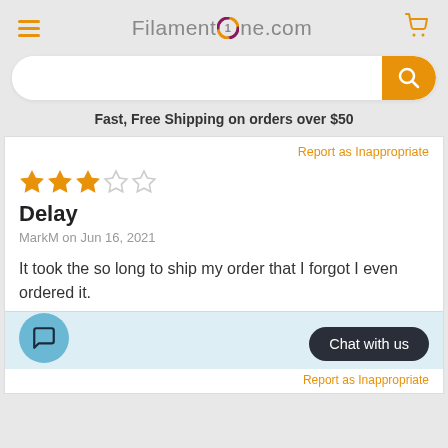FilamentOne.com
[Figure (screenshot): Search bar with orange search button]
Fast, Free Shipping on orders over $50
Report as Inappropriate
[Figure (other): 2 out of 5 stars rating]
Delay
MarkM on Jun 16, 2021
It took the so long to ship my order that I forgot I even ordered it.
Report as Inappropriate